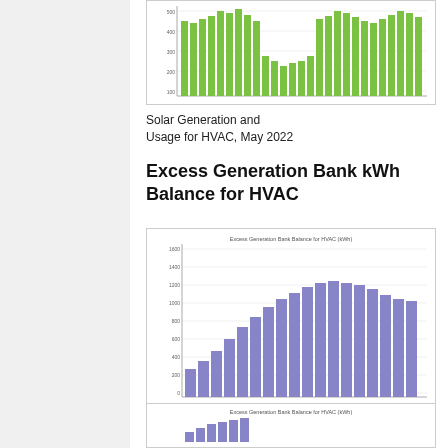[Figure (bar-chart): Bar chart showing solar generation and HVAC usage data for May 2022, with green bars]
Solar Generation and Usage for HVAC, May 2022
Excess Generation Bank kWh Balance for HVAC
[Figure (bar-chart): Bar chart showing excess generation bank balance for HVAC in kWh for Jan 2022, with purple/violet bars increasing then slightly decreasing]
650px|thumb|left|Excess Generation Bank Balance for HVAC (kWh), Jan 2022
[Figure (bar-chart): Partial bar chart visible at bottom of page, similar to above chart]